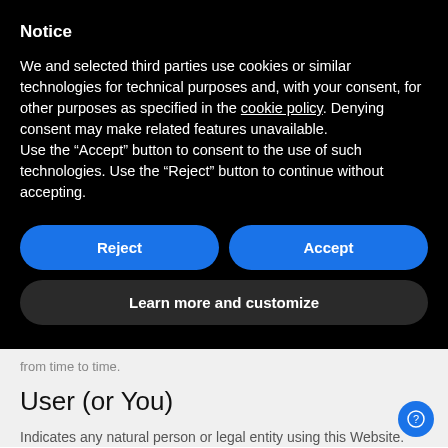Notice
We and selected third parties use cookies or similar technologies for technical purposes and, with your consent, for other purposes as specified in the cookie policy. Denying consent may make related features unavailable.
Use the “Accept” button to consent to the use of such technologies. Use the “Reject” button to continue without accepting.
from time to time.
User (or You)
Indicates any natural person or legal entity using this Website.